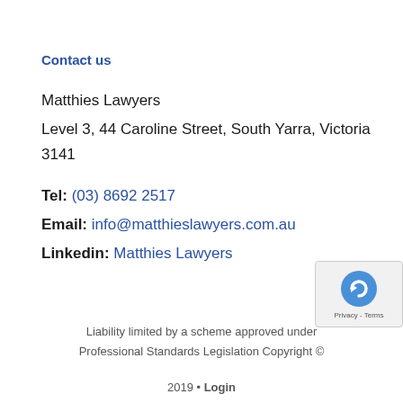Contact us
Matthies Lawyers
Level 3, 44 Caroline Street, South Yarra, Victoria 3141
Tel: (03) 8692 2517
Email: info@matthieslawyers.com.au
Linkedin: Matthies Lawyers
Liability limited by a scheme approved under Professional Standards Legislation Copyright © 2019 • Login